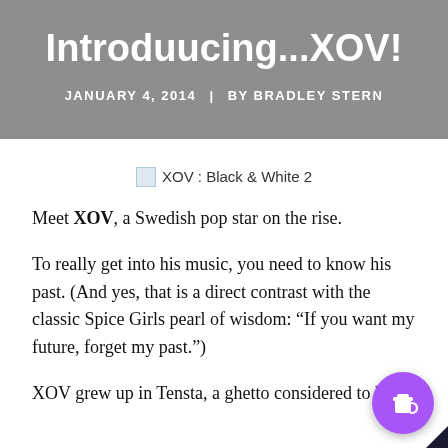Introduucing...XOV!
JANUARY 4, 2014  |  BY BRADLEY STERN
[Figure (photo): Broken image placeholder for XOV : Black & White 2]
Meet XOV, a Swedish pop star on the rise.
To really get into his music, you need to know his past. (And yes, that is a direct contrast with the classic Spice Girls pearl of wisdom: “If you want my future, forget my past.”)
XOV grew up in Tensta, a ghetto considered to be